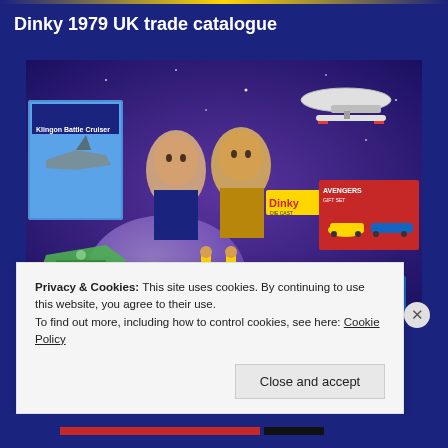Dinky 1979 UK trade catalogue
[Figure (illustration): Cover of Dinky 1979 UK trade catalogue featuring Star Trek characters Spock and Captain Kirk in space scene with Klingon Battle Cruiser model box on left, Star Trek Enterprise ship at top right, Avengers Gift Set box with yellow and blue cars on right, and other Dinky toy vehicles including space and car models on a purple/blue space background.]
Privacy & Cookies: This site uses cookies. By continuing to use this website, you agree to their use.
To find out more, including how to control cookies, see here: Cookie Policy
Close and accept